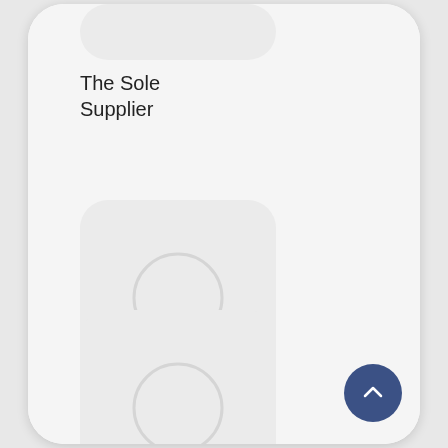[Figure (screenshot): App icon placeholder for The Sole Supplier — light grey rounded square with no image]
The Sole Supplier
[Figure (screenshot): App icon placeholder for Stocard - Loyalty Cards Wallet — light grey rounded square with a light circle inside]
Stocard - Loyalty Cards Wallet
[Figure (screenshot): App icon placeholder for TK Maxx — light grey rounded square with a light circle inside]
TK Maxx